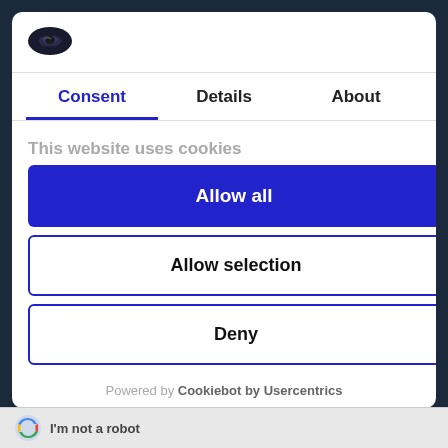[Figure (logo): Cookiebot/Usercentrics logo — dark oval cookie icon]
Consent | Details | About (tabs)
This website uses cookies
We use cookies to personalise content and ads, to
Allow all
Allow selection
Deny
Powered by Cookiebot by Usercentrics
I'm not a robot